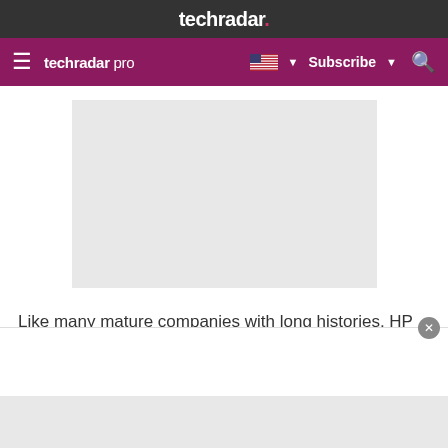techradar.
techradar pro  Subscribe
[Figure (other): Gray advertisement placeholder box]
Like many mature companies with long histories, HP has had many ups and downs over the past 76 years. While it is impossible to definitely say that any single
[Figure (other): White overlay advertisement area with close button]